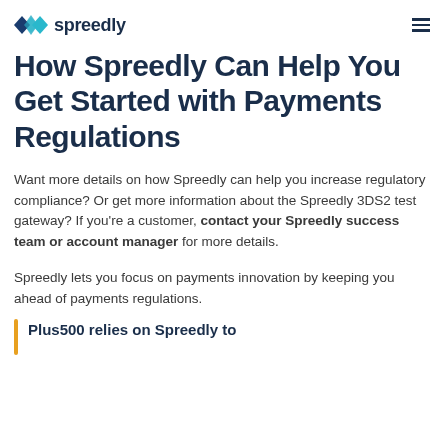spreedily
How Spreedly Can Help You Get Started with Payments Regulations
Want more details on how Spreedly can help you increase regulatory compliance? Or get more information about the Spreedly 3DS2 test gateway? If you're a customer, contact your Spreedly success team or account manager for more details.
Spreedly lets you focus on payments innovation by keeping you ahead of payments regulations.
Plus500 relies on Spreedly to